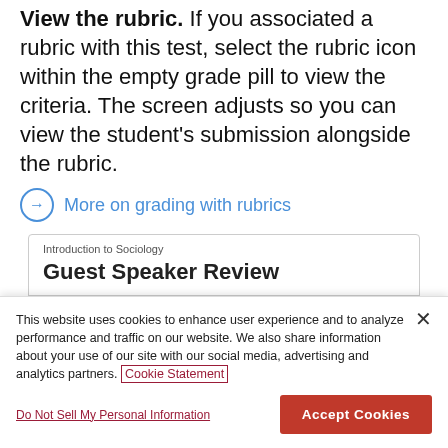View the rubric. If you associated a rubric with this test, select the rubric icon within the empty grade pill to view the criteria. The screen adjusts so you can view the student's submission alongside the rubric.
More on grading with rubrics
[Figure (screenshot): UI card showing course 'Introduction to Sociology', assignment title 'Guest Speaker Review', and student name 'Chris Casper']
This website uses cookies to enhance user experience and to analyze performance and traffic on our website. We also share information about your use of our site with our social media, advertising and analytics partners. Cookie Statement
Do Not Sell My Personal Information
Accept Cookies